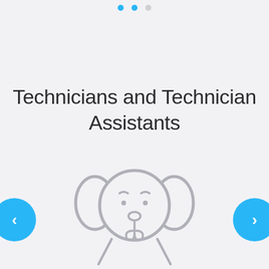Technicians and Technician Assistants
[Figure (illustration): Line art illustration of a dog face with headphones, front-facing view showing ears, eyes, nose, and tongue sticking out, with two front paws visible at bottom. Gray stroke outline style on light gray background.]